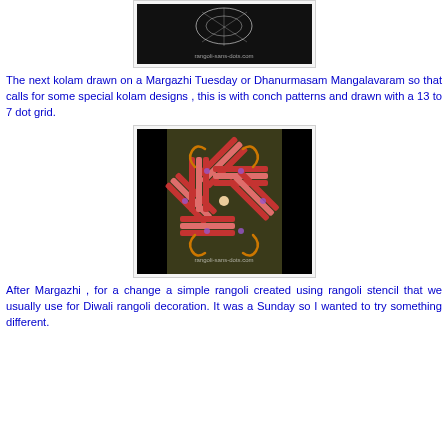[Figure (photo): Top portion of a kolam/rangoli design on black background with watermark 'rangoli-sans-dots.com']
The next kolam drawn on a Margazhi Tuesday or Dhanurmasam Mangalavaram so that calls for some special kolam designs , this is with conch patterns and drawn with a 13 to 7 dot grid.
[Figure (photo): Kolam/rangoli design with colorful striped star pattern on dark olive/green background with decorative swirls, watermark 'rangoli-sans-dots.com']
After Margazhi , for a change a simple rangoli created using rangoli stencil that we usually use for Diwali rangoli decoration.  It was a  Sunday so I wanted to try something different.